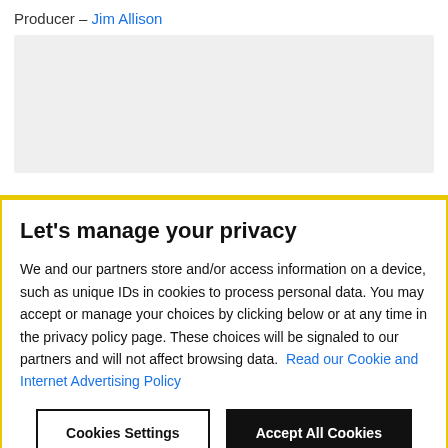Producer – Jim Allison
[Figure (other): Grey placeholder/ad box]
Let's manage your privacy
We and our partners store and/or access information on a device, such as unique IDs in cookies to process personal data. You may accept or manage your choices by clicking below or at any time in the privacy policy page. These choices will be signaled to our partners and will not affect browsing data. Read our Cookie and Internet Advertising Policy
Cookies Settings
Accept All Cookies